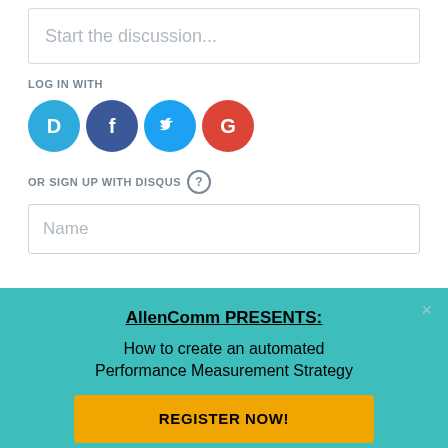Start the discussion...
LOG IN WITH
[Figure (other): Social login icons: Disqus (D), Facebook (f), Twitter bird, Google (G)]
OR SIGN UP WITH DISQUS (?)
Name
Be the first to comment.
AllenComm PRESENTS:
How to create an automated Performance Measurement Strategy
REGISTER NOW!